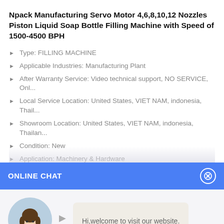Npack Manufacturing Servo Motor 4,6,8,10,12 Nozzles Piston Liquid Soap Bottle Filling Machine with Speed of 1500-4500 BPH
Type: FILLING MACHINE
Applicable Industries: Manufacturing Plant
After Warranty Service: Video technical support, NO SERVICE, Onl...
Local Service Location: United States, VIET NAM, indonesia, Thail...
Showroom Location: United States, VIET NAM, indonesia, Thailan...
Condition: New
Application: Machinery & Hardware
ONLINE CHAT
[Figure (photo): Avatar photo of a woman named Cilina, customer service representative]
Hi,welcome to visit our website.